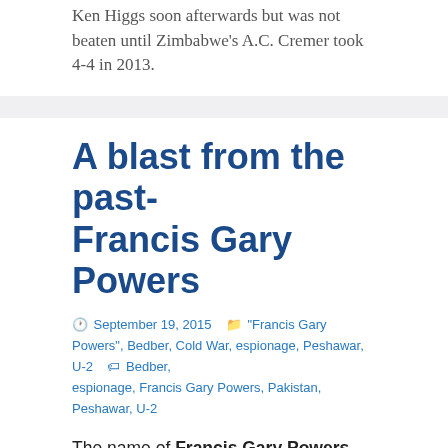Ken Higgs soon afterwards but was not beaten until Zimbabwe's A.C. Cremer took 4-4 in 2013.
A blast from the past- Francis Gary Powers
September 19, 2015  "Francis Gary Powers", Bedber, Cold War, espionage, Peshawar, U-2   Bedber, espionage, Francis Gary Powers, Pakistan, Peshawar, U-2
The name of Francis Gary Powers may not mean much to the present generation. But in early 1960 he was one of the most well-known (if not infamous) people in the world.